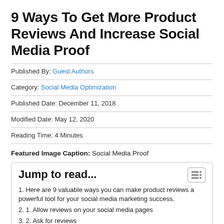9 Ways To Get More Product Reviews And Increase Social Media Proof
Published By: Guest Authors
Category: Social Media Optimization
Published Date: December 11, 2018
Modified Date: May 12, 2020
Reading Time: 4 Minutes
Featured Image Caption: Social Media Proof
Jump to read...
1. Here are 9 valuable ways you can make product reviews a powerful tool for your social media marketing success.
2. 1. Allow reviews on your social media pages
3. 2. Ask for reviews